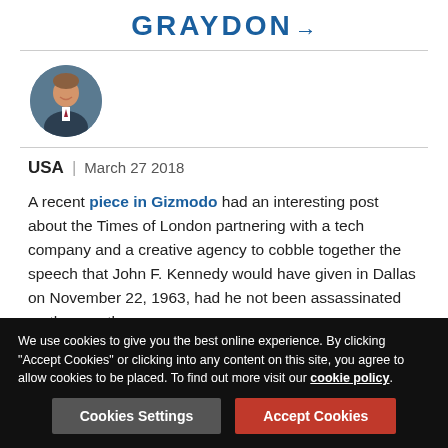GRAYDON
[Figure (photo): Circular avatar photo of a smiling man in a suit]
USA | March 27 2018
A recent piece in Gizmodo had an interesting post about the Times of London partnering with a tech company and a creative agency to cobble together the speech that John F. Kennedy would have given in Dallas on November 22, 1963, had he not been assassinated on the way there.
I don't pretend to understand the technique used in creating
We use cookies to give you the best online experience. By clicking "Accept Cookies" or clicking into any content on this site, you agree to allow cookies to be placed. To find out more visit our cookie policy.
Cookies Settings  Accept Cookies